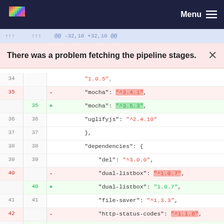Menu
There was a problem fetching the pipeline stages.
| old line | new line | diff | code |
| --- | --- | --- | --- |
| 34 |  |  | log4js-memory-appender": 
            "1.0.5", |
| 35 |  | - | "mocha": "^3.4.1", |
|  | 35 | + | "mocha": "^3.5.3", |
| 36 | 36 |  | "uglifyjs": "^2.4.10" |
| 37 | 37 |  |     }, |
| 38 | 38 |  |     "dependencies": { |
| 39 | 39 |  |         "del": "^3.0.0", |
| 40 |  | - | "dual-listbox": "^1.0.7", |
|  | 40 | + | "dual-listbox": "1.0.7", |
| 41 | 41 |  | "file-saver": "^1.3.3", |
| 42 |  | - | "http-status-codes": "^1.1.6", |
|  | 42 | + | "http-status-codes": "^1.3.0", |
| 43 | 43 |  | "js-cookie": "^2.1.3", |
| 44 | 44 |  | "log4js": "0.6.38", |
| 45 | 45 |  | "mkdirp": "^0.5.1", |
| 46 | 46 |  | "pileup": "^0.6.8", |
| 47 |  | - | "request": "^2.79.0" |